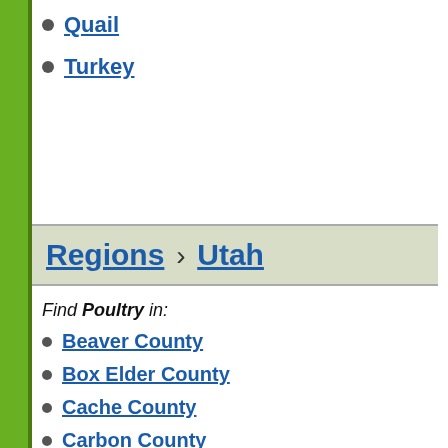Quail
Turkey
Regions > Utah
Find Poultry in:
Beaver County
Box Elder County
Cache County
Carbon County
Daggett County
Davis County